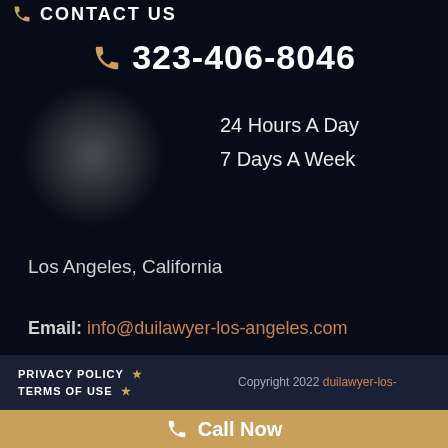CONTACT US
323-406-8046
24 Hours A Day
7 Days A Week
Los Angeles, California
Email: info@duilawyer-los-angeles.com
PRIVACY POLICY  *
TERMS OF USE  *
Copyright 2022 duilawyer-los-
Call Now